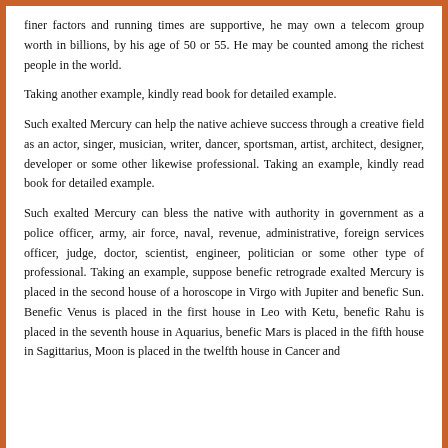finer factors and running times are supportive, he may own a telecom group worth in billions, by his age of 50 or 55. He may be counted among the richest people in the world.
Taking another example, kindly read book for detailed example.
Such exalted Mercury can help the native achieve success through a creative field as an actor, singer, musician, writer, dancer, sportsman, artist, architect, designer, developer or some other likewise professional. Taking an example, kindly read book for detailed example.
Such exalted Mercury can bless the native with authority in government as a police officer, army, air force, naval, revenue, administrative, foreign services officer, judge, doctor, scientist, engineer, politician or some other type of professional. Taking an example, suppose benefic retrograde exalted Mercury is placed in the second house of a horoscope in Virgo with Jupiter and benefic Sun. Benefic Venus is placed in the first house in Leo with Ketu, benefic Rahu is placed in the seventh house in Aquarius, benefic Mars is placed in the fifth house in Sagittarius, Moon is placed in the twelfth house in Cancer and